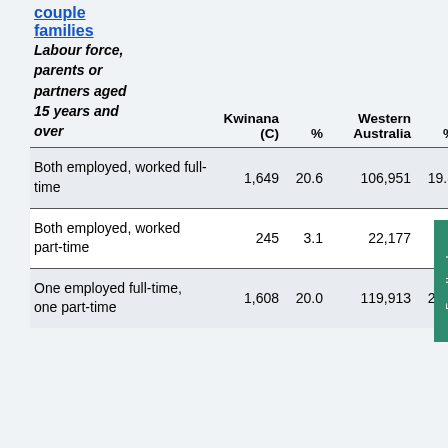| couple families Labour force, parents or partners aged 15 years and over | Kwinana (C) | % | Western Australia | % Aust |
| --- | --- | --- | --- | --- |
| Both employed, worked full-time | 1,649 | 20.6 | 106,951 | 19.8 | 1,08... |
| Both employed, worked part-time | 245 | 3.1 | 22,177 | 4.1 | 20... |
| One employed full-time, one part-time | 1,608 | 20.0 | 119,913 | 22.2 | 1,086... |